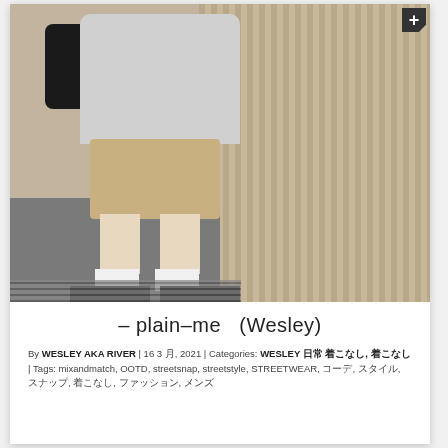[Figure (photo): Street style photo of a person walking, wearing a grey Nautica sweatshirt, khaki shorts, white socks, and black shoes, with a black backpack, in front of a ribbed wall background.]
– plain–me　(Wesley)
By WESLEY AKA RIVER | 16 3 月, 2021 | Categories: WESLEY 日常 着こなし, 着こなし | Tags: mixandmatch, OOTD, streetsnap, streetstyle, STREETWEAR, コーデ, スタイル, スナップ, 着こなし, ファッション, メンズ